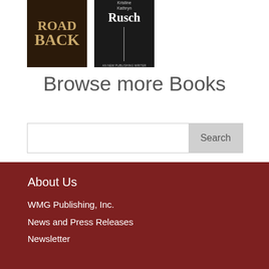[Figure (illustration): Book cover showing 'ROAD BACK' text in golden letters on dark brown background]
[Figure (illustration): Book cover showing 'Kristine Kathryn Rusch' on dark background with vertical line graphic]
Browse more Books
Search
About Us
WMG Publishing, Inc.
News and Press Releases
Newsletter